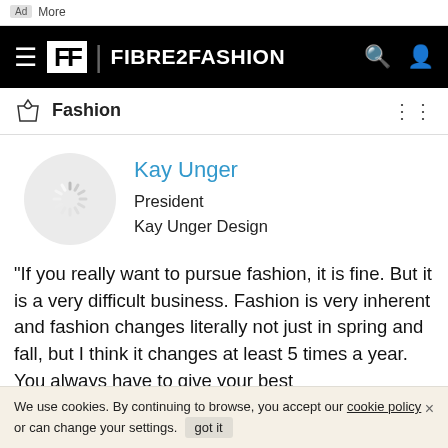Ad  More
[Figure (logo): Fibre2Fashion website navigation bar with hamburger menu, FF logo, site name FIBRE2FASHION, search and user icons on black background]
Fashion
Kay Unger
President
Kay Unger Design
"If you really want to pursue fashion, it is fine. But it is a very difficult business. Fashion is very inherent and fashion changes literally not just in spring and fall, but I think it changes at least 5 times a year. You always have to give your best
We use cookies. By continuing to browse, you accept our cookie policy or can change your settings.  got it